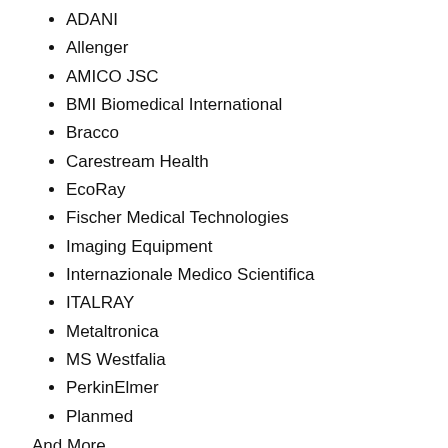ADANI
Allenger
AMICO JSC
BMI Biomedical International
Bracco
Carestream Health
EcoRay
Fischer Medical Technologies
Imaging Equipment
Internazionale Medico Scientifica
ITALRAY
Metaltronica
MS Westfalia
PerkinElmer
Planmed
And More
Get a Sample PDF of report @